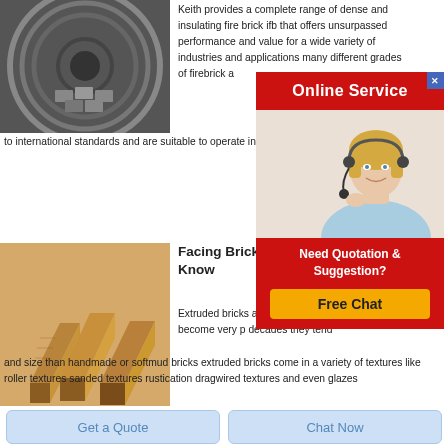[Figure (photo): Photo of fire bricks inside a cylindrical furnace/kiln viewed from above]
Keith provides a complete range of dense and insulating fire brick ifb that offers unsurpassed performance and value for a wide variety of industries and applications many different grades of firebrick a
to international standards and are suitable to operate in atmospheres up to 3250f features
[Figure (photo): Photo of three golden-brown facing bricks stacked/leaning against each other]
Facing Bricks Know
Extruded bricks also are relatively a mod has become very p decades they tend and size than handmade or softmud bricks extruded bricks come in a variety of textures like roller textures sanded textures rustication dragwired textures and even glazes
[Figure (infographic): Online Service overlay popup with woman wearing headset and Free Chat / Need Quotation & Suggestion buttons]
Get a Quote
Chat Now